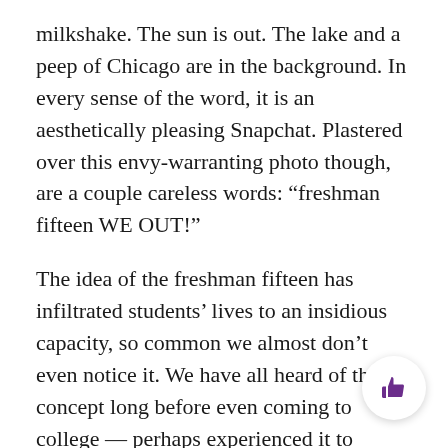milkshake. The sun is out. The lake and a peep of Chicago are in the background. In every sense of the word, it is an aesthetically pleasing Snapchat. Plastered over this envy-warranting photo though, are a couple careless words: “freshman fifteen WE OUT!”
The idea of the freshman fifteen has infiltrated students’ lives to an insidious capacity, so common we almost don’t even notice it. We have all heard of the concept long before even coming to college — perhaps experienced it to varying degrees, perhaps not. Somehow, the commonality of the experience, combined with the alliteration of the words, makes joking about it seem almost trendy.
The truth, though? I have watched one too many freshmen struggle with weight gain and subsequent eating disorders for us to be making light of this topic. Gaining weight freshman year is surely understandable — eating at dining halls is conducive to binge eating or excessive meals, many